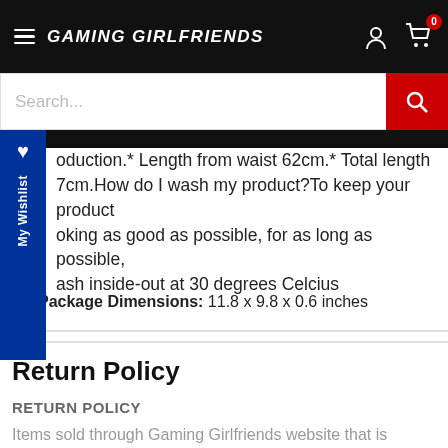GAMING GIRLFRIENDS
Search...
oduction.* Length from waist 62cm.* Total length 7cm.How do I wash my product?To keep your product oking as good as possible, for as long as possible, ash inside-out at 30 degrees Celcius
Package Dimensions: 11.8 x 9.8 x 0.6 inches
Return Policy
RETURN POLICY
Items sold through Gaming Girlfriends website that is